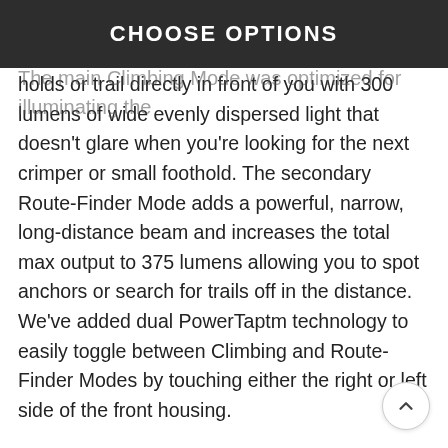CHOOSE OPTIONS
provides the two main lighting modes climbers need most. The main Climbing Mode was optimized for illuminating the holds or trail directly in front of you with 300 lumens of wide evenly dispersed light that doesn't glare when you're looking for the next crimper or small foothold. The secondary Route-Finder Mode adds a powerful, narrow, long-distance beam and increases the total max output to 375 lumens allowing you to spot anchors or search for trails off in the distance. We've added dual PowerTaptm technology to easily toggle between Climbing and Route-Finder Modes by touching either the right or left side of the front housing.
Providing flexibility, the Onsight is Dual-Fuel compatible and can be powered with either our rechargeable BD 1800 Li-ion battery or with three standard AAA batteries. The front housing is ultra-thin and has extra articulation built into it allowing you to get close to the wall and still see everything